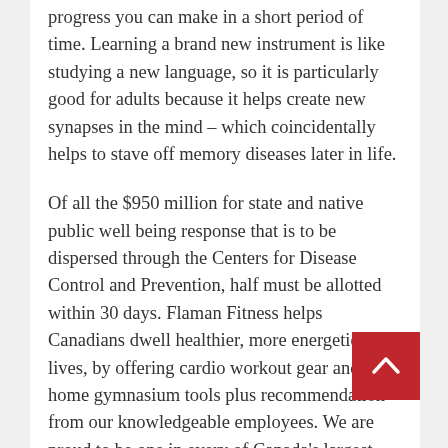progress you can make in a short period of time. Learning a brand new instrument is like studying a new language, so it is particularly good for adults because it helps create new synapses in the mind – which coincidentally helps to stave off memory diseases later in life.
Of all the $950 million for state and native public well being response that is to be dispersed through the Centers for Disease Control and Prevention, half must be allotted within 30 days. Flaman Fitness helps Canadians dwell healthier, more energetic lives, by offering cardio workout gear and home gymnasium tools plus recommendation from our knowledgeable employees. We are proud to be one in every of Canada's largest chains of retail house fitness, leisure, and healthcare tools. The event, held in the course of the annual meeting of the World Financial Discussion board featured a dialogue with Indian actress Deepika